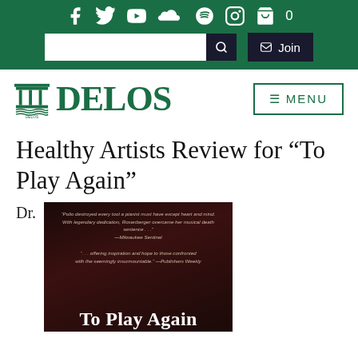DELOS website header with social icons (Facebook, Twitter, YouTube, SoundCloud, Spotify, Instagram, Cart), search box, Join button
[Figure (logo): DELOS logo with temple icon and green text, plus MENU button]
Healthy Artists Review for “To Play Again”
Dr.
[Figure (photo): Book cover for 'To Play Again' — dark red/black background with two review quotes in italic and large white title text at bottom]